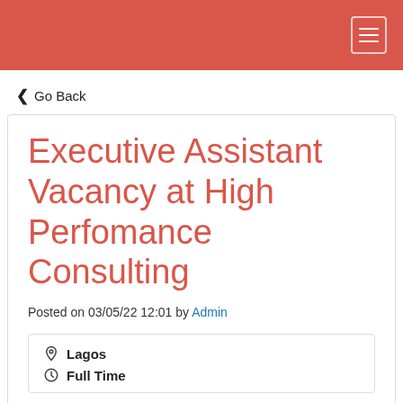‹ Go Back
Executive Assistant Vacancy at High Perfomance Consulting
Posted on 03/05/22 12:01 by Admin
Lagos
Full Time